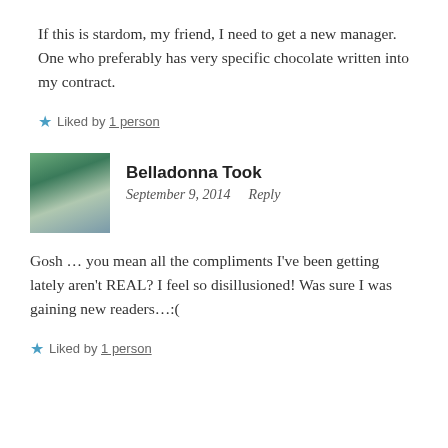If this is stardom, my friend, I need to get a new manager. One who preferably has very specific chocolate written into my contract.
★ Liked by 1 person
Belladonna Took
September 9, 2014   Reply
Gosh … you mean all the compliments I've been getting lately aren't REAL? I feel so disillusioned! Was sure I was gaining new readers…:(
★ Liked by 1 person